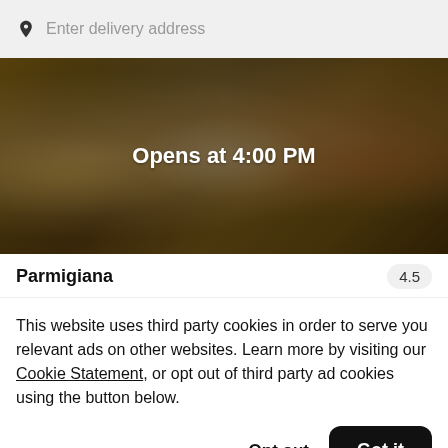Enter delivery address
[Figure (photo): Food delivery app hero image showing various dishes in dark containers on a wooden surface, overlaid with dark tint. Text overlay reads 'Opens at 4:00 PM']
Opens at 4:00 PM
Parmigiana
4.5
This website uses third party cookies in order to serve you relevant ads on other websites. Learn more by visiting our Cookie Statement, or opt out of third party ad cookies using the button below.
Opt out
Got it